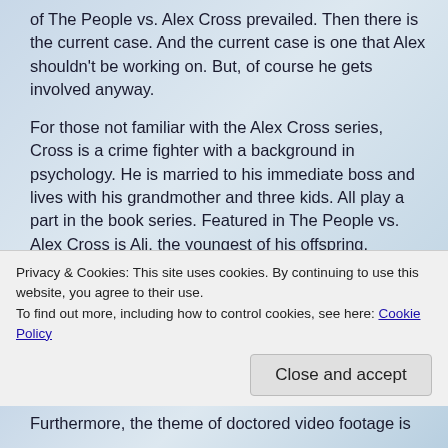of The People vs. Alex Cross prevailed. Then there is the current case. And the current case is one that Alex shouldn't be working on. But, of course he gets involved anyway.
For those not familiar with the Alex Cross series, Cross is a crime fighter with a background in psychology. He is married to his immediate boss and lives with his grandmother and three kids. All play a part in the book series. Featured in The People vs. Alex Cross is Ali, the youngest of his offspring.
The current case revolves around young missing blondes and various websites portraying harm to them. Thus, Patterson links the story to a current problem in technology, the dark web. For example, Patterson includes in his plot details on how video uploaded to the web can be
Privacy & Cookies: This site uses cookies. By continuing to use this website, you agree to their use.
To find out more, including how to control cookies, see here: Cookie Policy
Furthermore, the theme of doctored video footage is